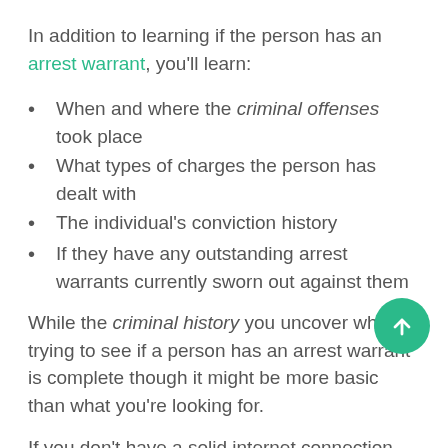In addition to learning if the person has an arrest warrant, you'll learn:
When and where the criminal offenses took place
What types of charges the person has dealt with
The individual's conviction history
If they have any outstanding arrest warrants currently sworn out against them
While the criminal history you uncover while trying to see if a person has an arrest warrant is complete though it might be more basic than what you're looking for.
If you don't have a solid internet connection